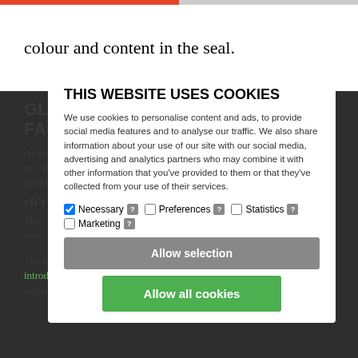colour and content in the seal.
GLASS WALLS TO KEEP THE OLD FACULTY LOGO
At the Faculty of Theology, the challenges are easily resolved, according to... staff member there...
»It's not as big a mouthful as I had feared. The Faculty of
The... gs... part... nal communication has used the royal logo for a long time. I think this makes up 80 per cent of it,» she says.
The rest of the work in introducing a new design template is about introducing it on all new publications, and the secretaries have been busy replacing the rooms' signage, while
THIS WEBSITE USES COOKIES
We use cookies to personalise content and ads, to provide social media features and to analyse our traffic. We also share information about your use of our site with our social media, advertising and analytics partners who may combine it with other information that you've provided to them or that they've collected from your use of their services.
Necessary ? Preferences ? Statistics ? Marketing ?
Allow selection
Allow all cookies